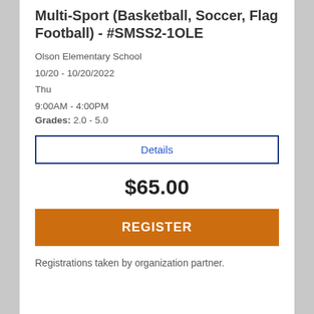Multi-Sport (Basketball, Soccer, Flag Football) - #SMSS2-1OLE
Olson Elementary School
10/20 - 10/20/2022
Thu
9:00AM - 4:00PM
Grades: 2.0 - 5.0
Details
$65.00
REGISTER
Registrations taken by organization partner. Click Register link.